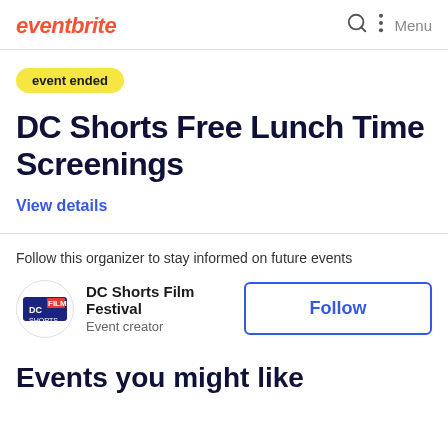eventbrite
event ended
DC Shorts Free Lunch Time Screenings
View details
Follow this organizer to stay informed on future events
DC Shorts Film Festival
Event creator
Follow
Events you might like